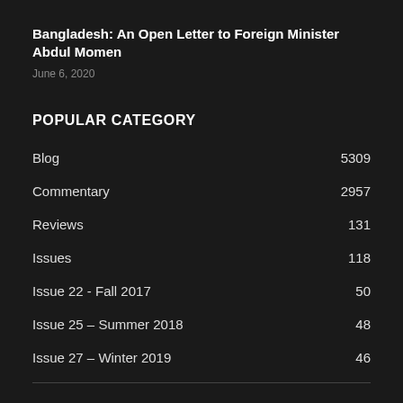Bangladesh: An Open Letter to Foreign Minister Abdul Momen
June 6, 2020
POPULAR CATEGORY
Blog  5309
Commentary  2957
Reviews  131
Issues  118
Issue 22 - Fall 2017  50
Issue 25 – Summer 2018  48
Issue 27 – Winter 2019  46